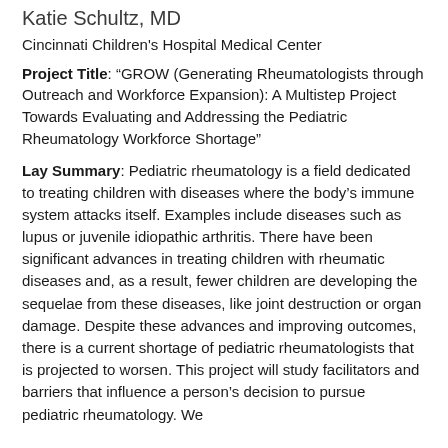Katie Schultz, MD
Cincinnati Children’s Hospital Medical Center
Project Title: “GROW (Generating Rheumatologists through Outreach and Workforce Expansion): A Multistep Project Towards Evaluating and Addressing the Pediatric Rheumatology Workforce Shortage”
Lay Summary: Pediatric rheumatology is a field dedicated to treating children with diseases where the body’s immune system attacks itself. Examples include diseases such as lupus or juvenile idiopathic arthritis. There have been significant advances in treating children with rheumatic diseases and, as a result, fewer children are developing the sequelae from these diseases, like joint destruction or organ damage. Despite these advances and improving outcomes, there is a current shortage of pediatric rheumatologists that is projected to worsen. This project will study facilitators and barriers that influence a person’s decision to pursue pediatric rheumatology. We